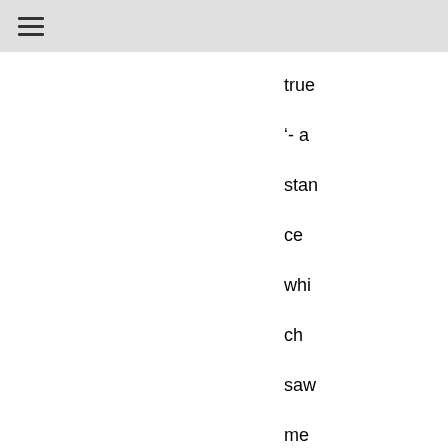true '- a stance which saw me labelled as a 'paedo-apologist' by